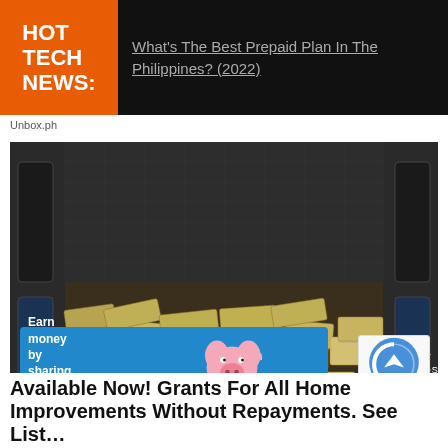HOT TECH NEWS:
What's The Best Prepaid Plan In The Philippines? (2022)
Unbox.ph
[Figure (photo): Photo of open vehicle trunk filled with stacks of bundled banknotes/cash. There is an advertisement overlay at the bottom reading 'Earn money by sharing your opinions' with a Miso Rewards piggy bank logo and a blue SIGN UP button.]
Available Now! Grants For All Home Improvements Without Repayments. See List…